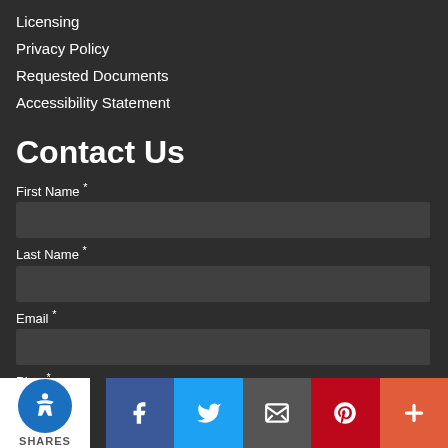Licensing
Privacy Policy
Requested Documents
Accessibility Statement
Contact Us
First Name *
Last Name *
Email *
Phone *
[Figure (other): Social share bar with accessibility icon, Facebook, Twitter, Email, Pinterest, and More buttons. Shows SHARES label.]